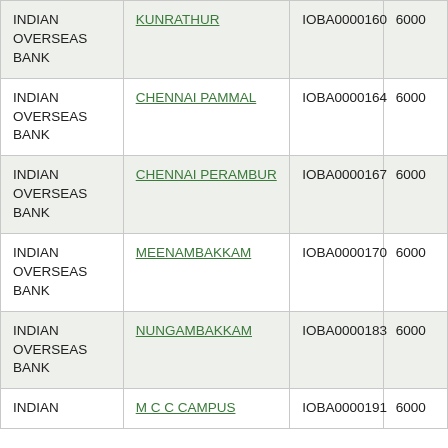| Bank | Branch | IFSC | PIN |
| --- | --- | --- | --- |
| INDIAN OVERSEAS BANK | KUNRATHUR | IOBA0000160 | 6000 |
| INDIAN OVERSEAS BANK | CHENNAI PAMMAL | IOBA0000164 | 6000 |
| INDIAN OVERSEAS BANK | CHENNAI PERAMBUR | IOBA0000167 | 6000 |
| INDIAN OVERSEAS BANK | MEENAMBAKKAM | IOBA0000170 | 6000 |
| INDIAN OVERSEAS BANK | NUNGAMBAKKAM | IOBA0000183 | 6000 |
| INDIAN | M C C CAMPUS | IOBA0000191 | 6000 |